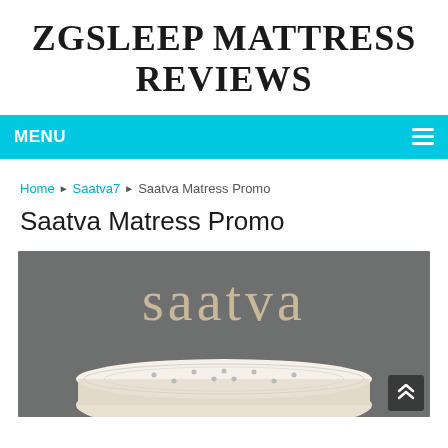ZGSLEEP MATTRESS REVIEWS
MENU
Home ▶ Saatva7 ▶ Saatva Matress Promo
Saatva Matress Promo
[Figure (photo): Saatva mattress promotional image showing the Saatva brand logo in beige text on a dark grey background, with a white quilted mattress visible at the bottom of the image.]